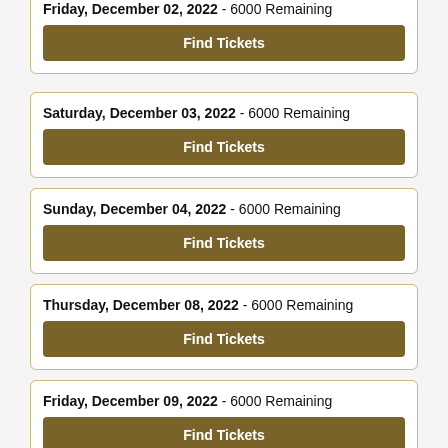Friday, December 02, 2022 - 6000 Remaining | Find Tickets
Saturday, December 03, 2022 - 6000 Remaining | Find Tickets
Sunday, December 04, 2022 - 6000 Remaining | Find Tickets
Thursday, December 08, 2022 - 6000 Remaining | Find Tickets
Friday, December 09, 2022 - 6000 Remaining | Find Tickets
Saturday, December 10, 2022 - 6000 Remaining